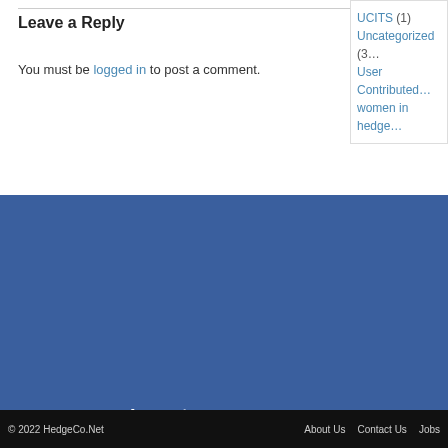Leave a Reply
You must be logged in to post a comment.
UCITS (1)
Uncategorized (3…)
User Contributed…
women in hedge…
Investors
Conferences
Hedge Fund Search
Hedge Fund Rankings
Breaking News
Hedge Fund Managers
Manager Benefits
Conferences
[Figure (infographic): Social media icons: LinkedIn, Twitter, Facebook, Google+, RSS feed]
© 2022 HedgeCo.Net   About Us   Contact Us   Jobs